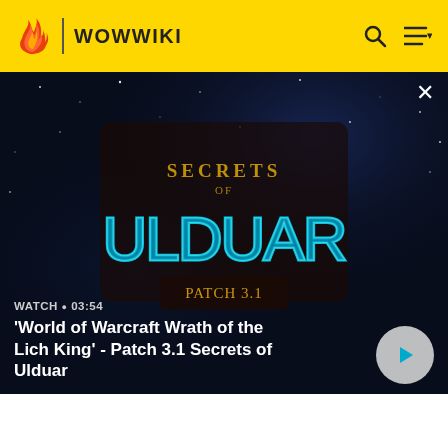WOWWIKI
[Figure (screenshot): Video thumbnail showing 'Secrets of Ulduar Patch 3.1' logo on dark starfield background with play button and title 'World of Warcraft Wrath of the Lich King' - Patch 3.1 Secrets of Ulduar. Watch time: 03:54]
pet's abilities based on its specializations.
Disengage: Cooldown increased by 5 seconds
This wiki contains inaccurate and out-of-date information. Please head over to https://wowpedia.fandom.com for more accurate and up-to-date game information.